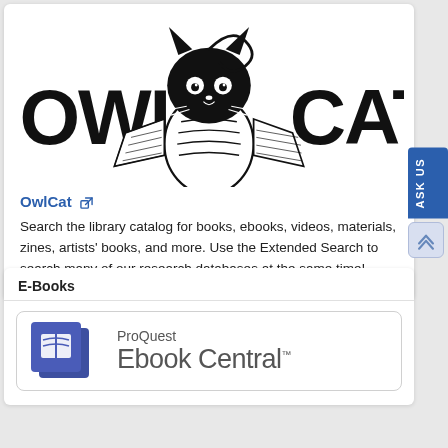[Figure (logo): OwlCat library catalog logo — a stylized owl/cat hybrid creature holding open books with bold text OWL and CAT on either side]
OwlCat [external link icon]
Search the library catalog for books, ebooks, videos, materials, zines, artists' books, and more. Use the Extended Search to search many of our research databases at the same time!
E-Books
[Figure (logo): ProQuest Ebook Central logo — blue icon with open book, text ProQuest Ebook Central with TM mark]